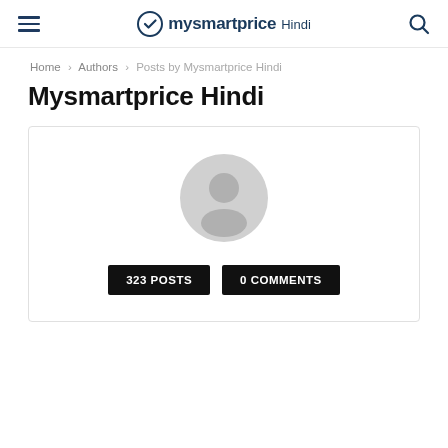mysmartprice Hindi
Home › Authors › Posts by Mysmartprice Hindi
Mysmartprice Hindi
[Figure (illustration): Author profile card with default avatar icon, 323 POSTS button and 0 COMMENTS button]
323 POSTS  0 COMMENTS